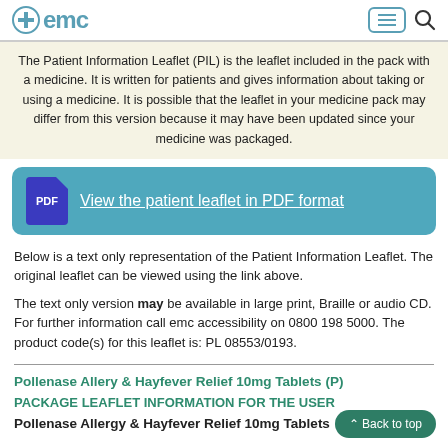emc
The Patient Information Leaflet (PIL) is the leaflet included in the pack with a medicine. It is written for patients and gives information about taking or using a medicine. It is possible that the leaflet in your medicine pack may differ from this version because it may have been updated since your medicine was packaged.
[Figure (other): Blue PDF icon button linking to 'View the patient leaflet in PDF format']
Below is a text only representation of the Patient Information Leaflet. The original leaflet can be viewed using the link above.
The text only version may be available in large print, Braille or audio CD. For further information call emc accessibility on 0800 198 5000. The product code(s) for this leaflet is: PL 08553/0193.
Pollenase Allery & Hayfever Relief 10mg Tablets (P)
PACKAGE LEAFLET INFORMATION FOR THE USER
Pollenase Allergy & Hayfever Relief 10mg Tablets